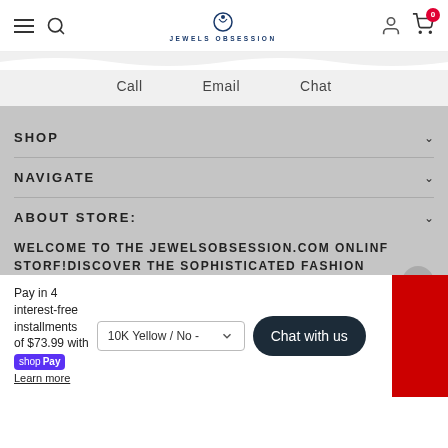Jewels Obsession
Call  Email  Chat
SHOP
NAVIGATE
ABOUT STORE:
WELCOME TO THE JEWELSOBSESSION.COM ONLINE STORE! DISCOVER THE SOPHISTICATED FASHION
Pay in 4 interest-free installments of $73.99 with shop Pay Learn more
10K Yellow / No -
Chat with us